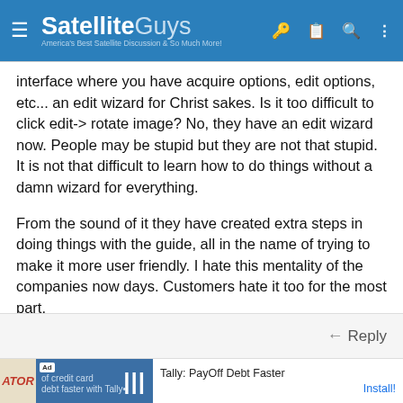SatelliteGuys — America's Best Satellite Discussion & So Much More!
interface where you have acquire options, edit options, etc... an edit wizard for Christ sakes. Is it too difficult to click edit-> rotate image? No, they have an edit wizard now. People may be stupid but they are not that stupid. It is not that difficult to learn how to do things without a damn wizard for everything.
From the sound of it they have created extra steps in doing things with the guide, all in the name of trying to make it more user friendly. I hate this mentality of the companies now days. Customers hate it too for the most part.
← Reply
[Figure (screenshot): Advertisement banner for Tally: PayOff Debt Faster app with Install button]